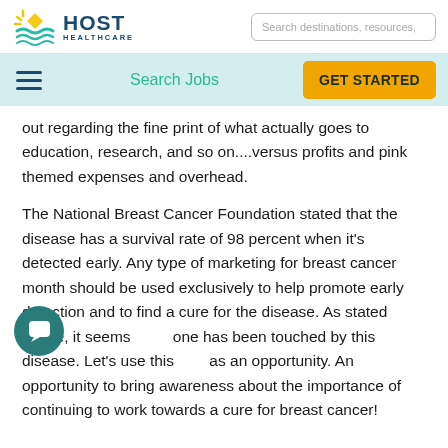[Figure (logo): Host Healthcare logo with sun/wave icon and text HOST HEALTHCARE]
Search destinations, resources,
Search Jobs  GET STARTED
out regarding the fine print of what actually goes to education, research, and so on....versus profits and pink themed expenses and overhead.
The National Breast Cancer Foundation stated that the disease has a survival rate of 98 percent when it’s detected early. Any type of marketing for breast cancer month should be used exclusively to help promote early detection and to find a cure for the disease. As stated above, it seems everyone has been touched by this disease. Let’s use this as an opportunity. An opportunity to bring awareness about the importance of continuing to work towards a cure for breast cancer!